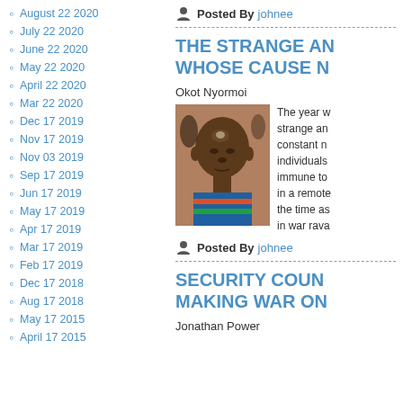August 22 2020
July 22 2020
June 22 2020
May 22 2020
April 22 2020
Mar 22 2020
Dec 17 2019
Nov 17 2019
Nov 03 2019
Sep 17 2019
Jun 17 2019
May 17 2019
Apr 17 2019
Mar 17 2019
Feb 17 2019
Dec 17 2018
Aug 17 2018
May 17 2015
April 17 2015
Posted By johnee
THE STRANGE AN WHOSE CAUSE N
Okot Nyormoi
[Figure (photo): Close-up photo of a young African child looking downward]
The year w strange an constant n individuals immune to in a remote the time as in war rava
Posted By johnee
SECURITY COUN MAKING WAR ON
Jonathan Power